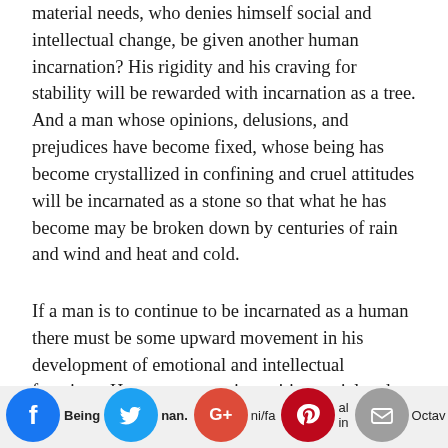material needs, who denies himself social and intellectual change, be given another human incarnation? His rigidity and his craving for stability will be rewarded with incarnation as a tree. And a man whose opinions, delusions, and prejudices have become fixed, whose being has become crystallized in confining and cruel attitudes will be incarnated as a stone so that what he has become may be broken down by centuries of rain and wind and heat and cold.
If a man is to continue to be incarnated as a human there must be some upward movement in his development of emotional and intellectual functions. He must engage in positive social and intellectual projects and experiments. He must connect to other people.
Being [human]. [URL]/fa[cebook] [social in]...Octav[e]